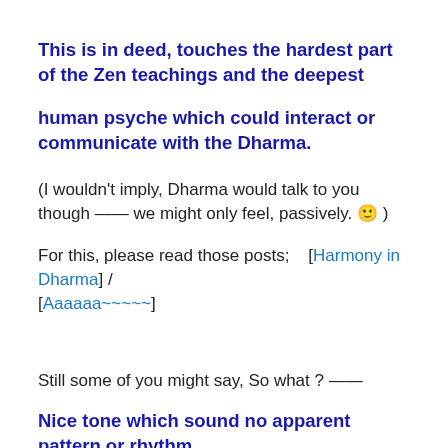This is in deed, touches the hardest part of the Zen teachings and the deepest
human psyche which could interact or communicate with the Dharma.
(I wouldn't imply, Dharma would talk to you though —— we might only feel, passively. 🙂 )
For this, please read those posts;   [Harmony in Dharma] / [Aaaaaa~~~~~]
Still some of you might say, So what ? ——
Nice tone which sound no apparent pattern or rhythm,